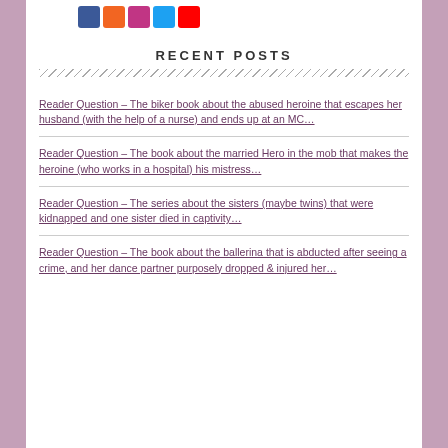[Figure (other): Social media icons: Facebook, RSS, Instagram, Twitter, YouTube]
RECENT POSTS
Reader Question – The biker book about the abused heroine that escapes her husband (with the help of a nurse) and ends up at an MC…
Reader Question – The book about the married Hero in the mob that makes the heroine (who works in a hospital) his mistress…
Reader Question – The series about the sisters (maybe twins) that were kidnapped and one sister died in captivity…
Reader Question – The book about the ballerina that is abducted after seeing a crime, and her dance partner purposely dropped & injured her…